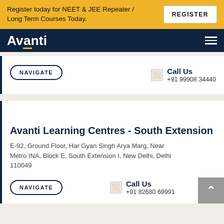Register today for NEET & JEE Repeater / Long Term Courses Today.
REGISTER
[Figure (logo): Avanti logo in white text on dark navy background]
NAVIGATE
Call Us
+91 99908 34440
Avanti Learning Centres - South Extension
E-92, Ground Floor, Har Gyan Singh Arya Marg, Near Metro INA, Block E, South Extension I, New Delhi, Delhi 110049
NAVIGATE
Call Us
+91 82680 69991